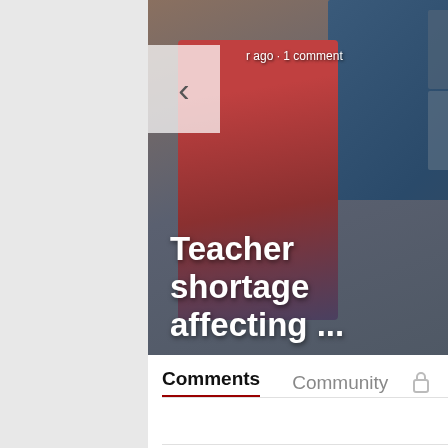[Figure (screenshot): News article carousel showing 'Teacher shortage affecting ...' as the main slide with a teacher image in the background, and a partially visible 'Nort Gov criti' article to the right. Navigation arrows are visible on left and right.]
r ago · 1 comment
Teacher shortage affecting ...
Nort Gov criti
Comments    Community  🔒
Login ▾
♡ Favorite
Sort by Best ▾
Start the discussion...
LOG IN WITH
[Figure (logo): Social login icons: Disqus (blue speech bubble with D), Facebook (dark blue circle with f), Twitter (light blue circle with bird), Google (red circle with G)]
[Figure (other): reCAPTCHA widget showing recycling arrows and Privacy · Terms text]